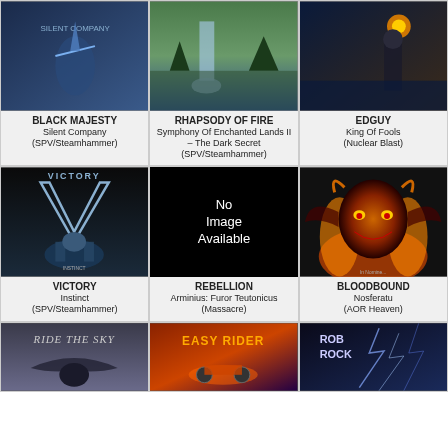[Figure (illustration): Black Majesty - Silent Company album cover, blue sci-fi figure]
BLACK MAJESTY
Silent Company
(SPV/Steamhammer)
[Figure (illustration): Rhapsody of Fire - Symphony Of Enchanted Lands II album cover, landscape]
RHAPSODY OF FIRE
Symphony Of Enchanted Lands II – The Dark Secret
(SPV/Steamhammer)
[Figure (illustration): Edguy - King Of Fools album cover]
EDGUY
King Of Fools
(Nuclear Blast)
[Figure (illustration): Victory - Instinct album cover, chrome V logo]
VICTORY
Instinct
(SPV/Steamhammer)
[Figure (illustration): No Image Available - black placeholder]
REBELLION
Arminius: Furor Teutonicus
(Massacre)
[Figure (illustration): Bloodbound - Nosferatu album cover, demonic face with flames]
BLOODBOUND
Nosferatu
(AOR Heaven)
[Figure (illustration): Ride The Sky album cover partial]
[Figure (illustration): Easy Rider album cover partial]
[Figure (illustration): Rob Rock album cover partial]